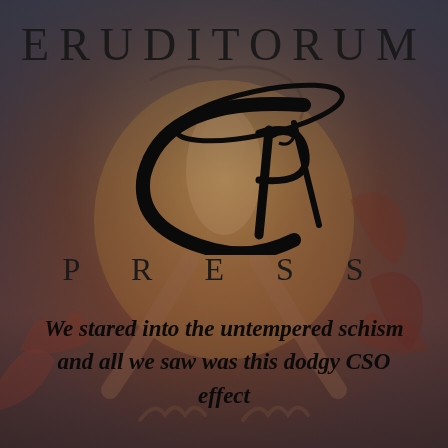[Figure (logo): Eruditorum Press logo with stylized EP monogram in black on a dramatic artistic background showing a figure from a Blake-style painting, with muted dark red, orange, and teal tones]
ERUDITORUM
PRESS
We stared into the untempered schism and all we saw was this dodgy CSO effect